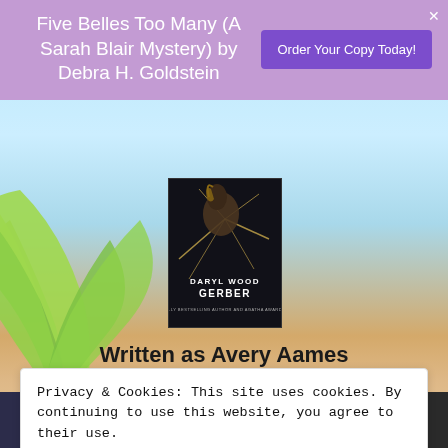Five Belles Too Many (A Sarah Blair Mystery) by Debra H. Goldstein
Order Your Copy Today!
[Figure (illustration): Book cover for a Daryl Wood Gerber novel showing a dark horse silhouette bursting through a cracked surface with dramatic lighting]
Written as Avery Aames
Privacy & Cookies: This site uses cookies. By continuing to use this website, you agree to their use.
To find out more, including how to control cookies, see here:
Cookie Policy
Close and accept
[Figure (illustration): Row of four Avery Aames book covers at the bottom of the page]